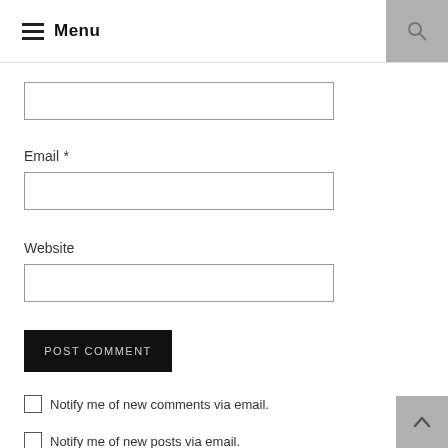Menu
[Figure (other): Input text field (first field, no label visible)]
Email *
[Figure (other): Email input text field]
Website
[Figure (other): Website input text field]
POST COMMENT
Notify me of new comments via email.
Notify me of new posts via email.